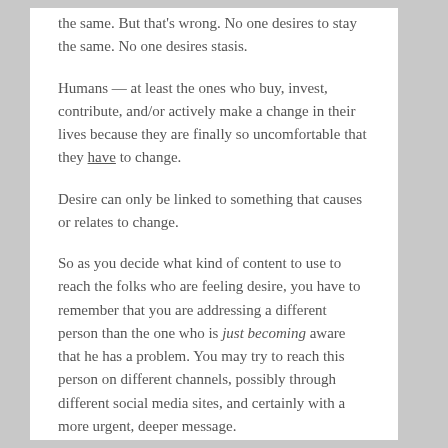the same. But that's wrong. No one desires to stay the same. No one desires stasis.
Humans — at least the ones who buy, invest, contribute, and/or actively make a change in their lives because they are finally so uncomfortable that they have to change.
Desire can only be linked to something that causes or relates to change.
So as you decide what kind of content to use to reach the folks who are feeling desire, you have to remember that you are addressing a different person than the one who is just becoming aware that he has a problem. You may try to reach this person on different channels, possibly through different social media sites, and certainly with a more urgent, deeper message.